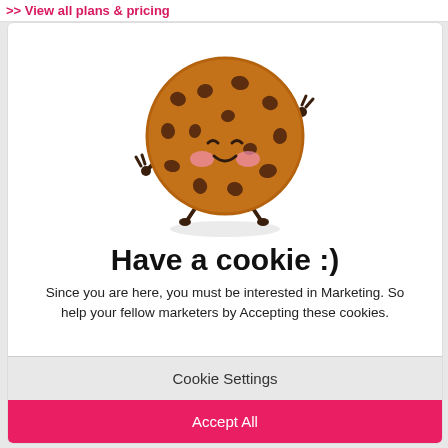>> View all plans & pricing
[Figure (illustration): Cute cartoon cookie character with chocolate chips, smiling face with rosy cheeks, and arms/legs raised in a cheerful pose]
Have a cookie :)
Since you are here, you must be interested in Marketing. So help your fellow marketers by Accepting these cookies.
Cookie Settings
Accept All